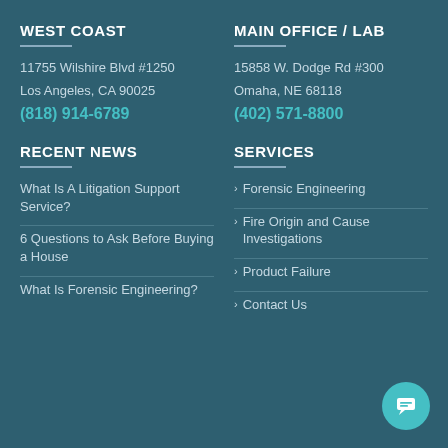WEST COAST
11755 Wilshire Blvd #1250
Los Angeles, CA 90025
(818) 914-6789
MAIN OFFICE / LAB
15858 W. Dodge Rd #300
Omaha, NE 68118
(402) 571-8800
RECENT NEWS
What Is A Litigation Support Service?
6 Questions to Ask Before Buying a House
What Is Forensic Engineering?
SERVICES
Forensic Engineering
Fire Origin and Cause Investigations
Product Failure
Contact Us